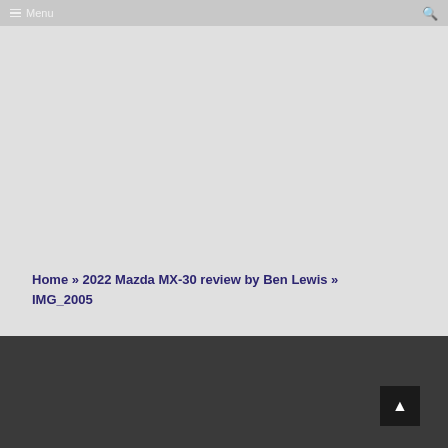Menu
Home » 2022 Mazda MX-30 review by Ben Lewis » IMG_2005